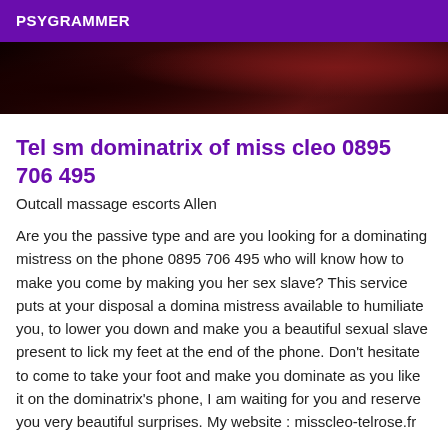PSYGRAMMER
[Figure (photo): Dark reddish-brown background photo, appears to show a dimly lit room]
Tel sm dominatrix of miss cleo 0895 706 495
Outcall massage escorts Allen
Are you the passive type and are you looking for a dominating mistress on the phone 0895 706 495 who will know how to make you come by making you her sex slave? This service puts at your disposal a domina mistress available to humiliate you, to lower you down and make you a beautiful sexual slave present to lick my feet at the end of the phone. Don't hesitate to come to take your foot and make you dominate as you like it on the dominatrix's phone, I am waiting for you and reserve you very beautiful surprises. My website : misscleo-telrose.fr